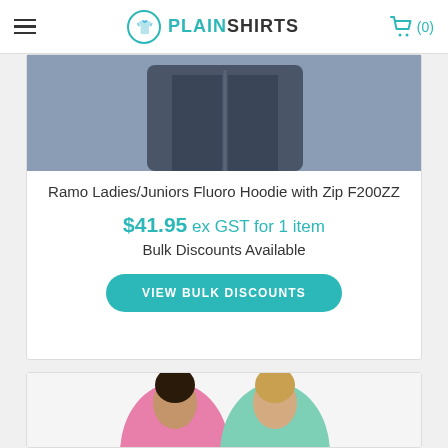PLAIN SHIRTS — navigation header with hamburger menu and cart (0)
[Figure (photo): Dark gray zip-up hoodie product photo, cropped at bottom of image]
Ramo Ladies/Juniors Fluoro Hoodie with Zip F200ZZ
$41.95 ex GST for 1 item
Bulk Discounts Available
VIEW BULK DISCOUNTS
[Figure (photo): Two women wearing fluoro zip hoodies — one in pink, one in mint green]